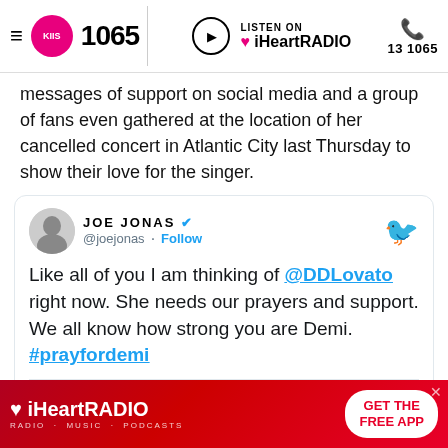KIIS 1065 | LISTEN ON iHeartRADIO | 131065
messages of support on social media and a group of fans even gathered at the location of her cancelled concert in Atlantic City last Thursday to show their love for the singer.
[Figure (screenshot): Embedded tweet from @joejonas: 'Like all of you I am thinking of @DDLovato right now. She needs our prayers and support. We all know how strong you are Demi. #prayfordemi' — 12:09 AM · Jul 25, 2018]
[Figure (infographic): iHeartRadio advertisement banner: red background with iHeartRADIO logo and 'GET THE FREE APP' button]